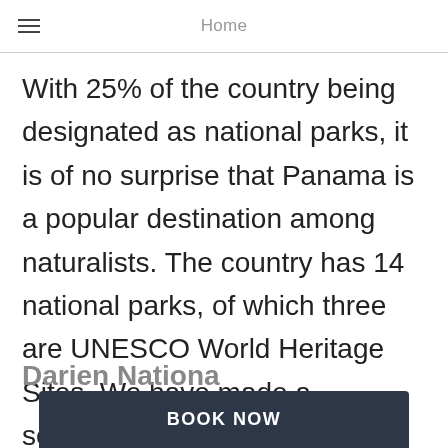Home
With 25% of the country being designated as national parks, it is of no surprise that Panama is a popular destination among naturalists. The country has 14 national parks, of which three are UNESCO World Heritage Sites. We have made a selection of the most beautiful national parks that are worth visiting during your vacation in Panama.
Darien Nationa
BOOK NOW